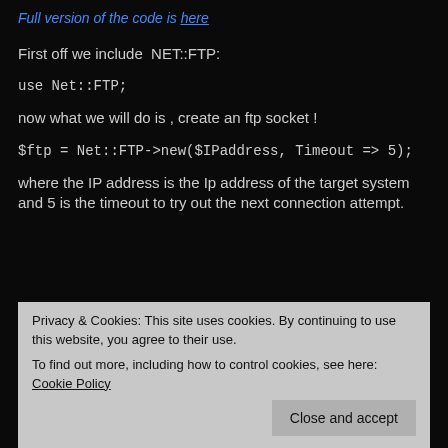Full version of the code is here
First off we include  NET::FTP:
use Net::FTP;
now what we will do is , create an ftp socket !
$ftp = Net::FTP->new($IPaddress, Timeout => 5);
where the IP address is the Ip address of the target system and 5 is the timeout to try out the next connection attempt.
Now we just have to add the code to check for username and p...
if($ftp->login("ftp","ftp")) {
$bogus = "CRACKED Username : ftp password: ftp.";
Privacy & Cookies: This site uses cookies. By continuing to use this website, you agree to their use. To find out more, including how to control cookies, see here: Cookie Policy
Close and accept